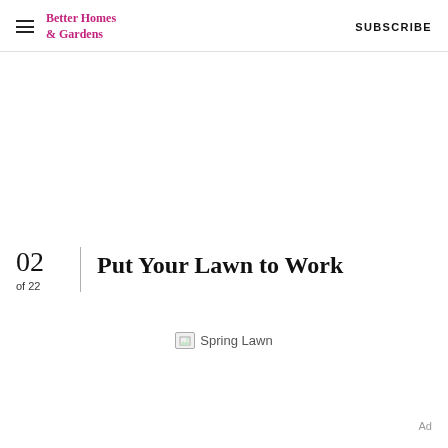Better Homes & Gardens   SUBSCRIBE
Put Your Lawn to Work
02
of 22
[Figure (photo): Spring Lawn image (broken/loading placeholder)]
Ad